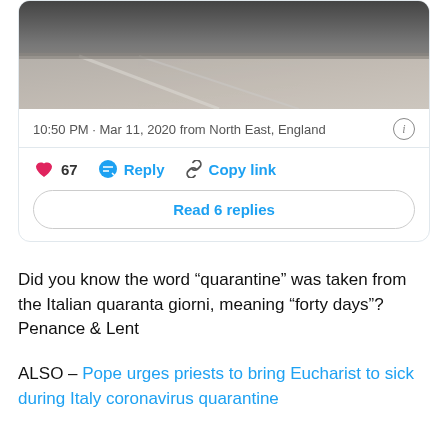[Figure (photo): Top portion of a tweet card showing a photo of a road/pavement surface, partially cropped]
10:50 PM · Mar 11, 2020 from North East, England
67  Reply  Copy link
Read 6 replies
Did you know the word “quarantine” was taken from the Italian quaranta giorni, meaning “forty days”? Penance & Lent
ALSO – Pope urges priests to bring Eucharist to sick during Italy coronavirus quarantine